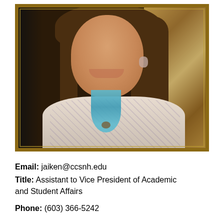[Figure (photo): Portrait photo of a woman smiling, wearing a patterned blouse with a blue/turquoise beaded necklace, with a decorative framed painting visible in the background.]
Email:  jaiken@ccsnh.edu
Title:  Assistant to Vice President of Academic and Student Affairs
Phone:  (603) 366-5242